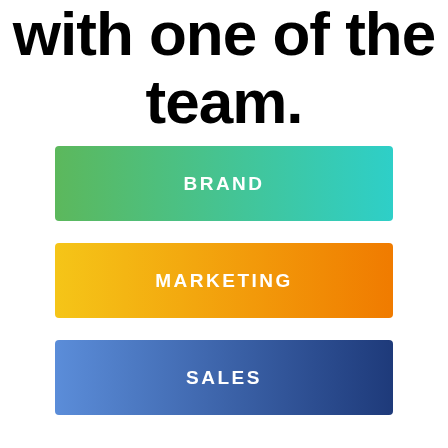with one of the team.
BRAND
MARKETING
SALES